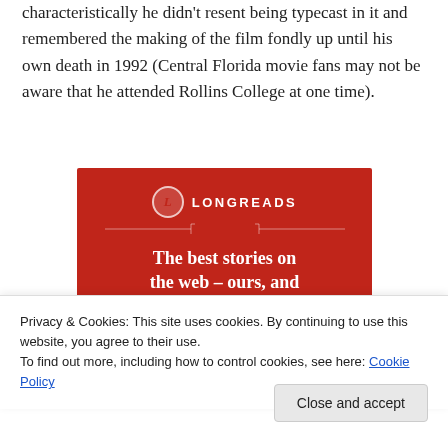characteristically he didn't resent being typecast in it and remembered the making of the film fondly up until his own death in 1992 (Central Florida movie fans may not be aware that he attended Rollins College at one time).
[Figure (infographic): Longreads advertisement banner on red background. Logo with circle L and LONGREADS text. Tagline: The best stories on the web – ours, and everyone else's. Black Start reading button.]
Privacy & Cookies: This site uses cookies. By continuing to use this website, you agree to their use.
To find out more, including how to control cookies, see here: Cookie Policy
Close and accept